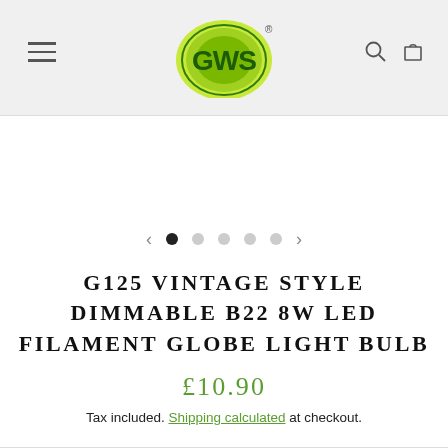[Figure (logo): GWS logo: green circle with GWS text in dark green, with registered trademark symbol]
G125 VINTAGE STYLE DIMMABLE B22 8W LED FILAMENT GLOBE LIGHT BULB
£10.90
Tax included. Shipping calculated at checkout.